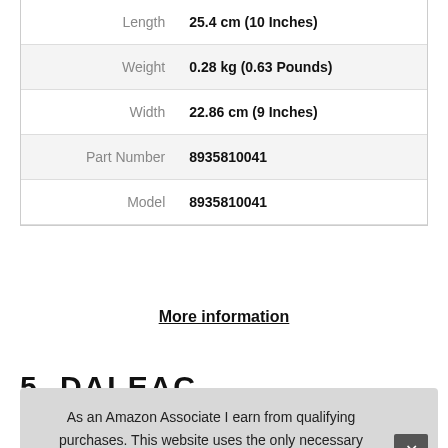| Attribute | Value |
| --- | --- |
| Length | 25.4 cm (10 Inches) |
| Weight | 0.28 kg (0.63 Pounds) |
| Width | 22.86 cm (9 Inches) |
| Part Number | 8935810041 |
| Model | 8935810041 |
More information
5.
As an Amazon Associate I earn from qualifying purchases. This website uses the only necessary cookies to ensure you get the best experience on our website. More information